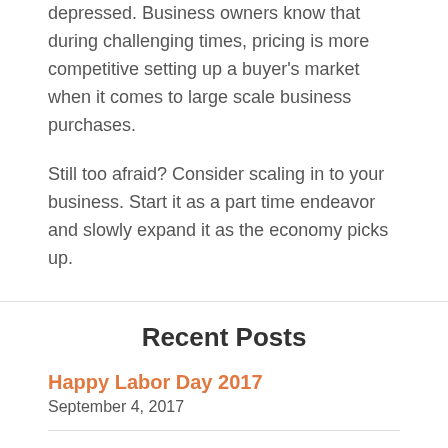depressed. Business owners know that during challenging times, pricing is more competitive setting up a buyer's market when it comes to large scale business purchases.
Still too afraid? Consider scaling in to your business. Start it as a part time endeavor and slowly expand it as the economy picks up.
Recent Posts
Happy Labor Day 2017
September 4, 2017
Memorial Day 2017